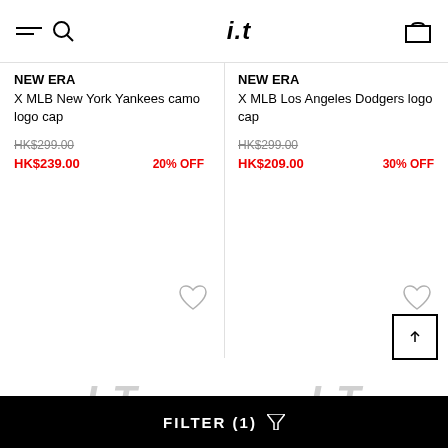i.t
NEW ERA
X MLB New York Yankees camo logo cap
HK$299.00
HK$239.00  20% OFF
NEW ERA
X MLB Los Angeles Dodgers logo cap
HK$299.00
HK$209.00  30% OFF
[Figure (other): Wishlist heart icons and scroll-to-top button]
[Figure (other): I.T brand logo watermark placeholders for product images]
FILTER (1)